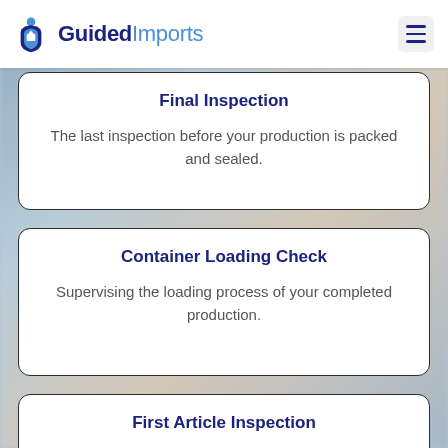Guided Imports
Final Inspection
The last inspection before your production is packed and sealed.
Container Loading Check
Supervising the loading process of your completed production.
First Article Inspection
Inspecting the first pieces to come off the production line.